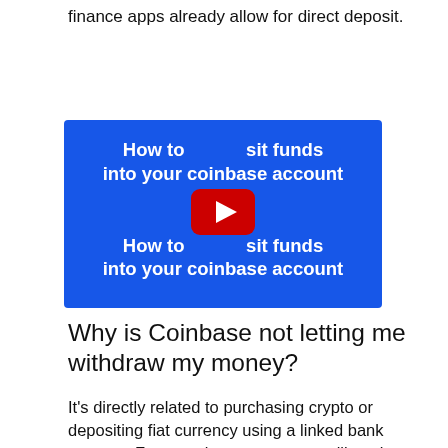finance apps already allow for direct deposit.
[Figure (screenshot): YouTube video thumbnail with blue background showing text 'How to deposit funds into your coinbase account' with a YouTube play button in the center.]
Why is Coinbase not letting me withdraw my money?
It's directly related to purchasing crypto or depositing fiat currency using a linked bank account. For security reasons, you will not be able to immediately withdraw fiat deposited